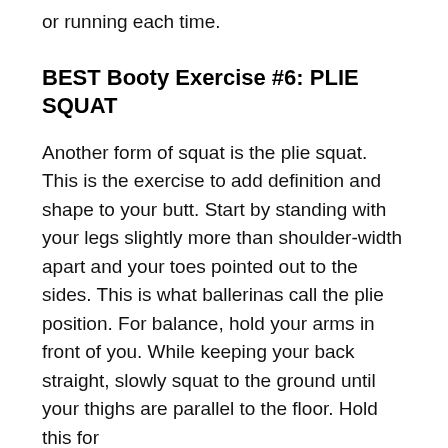or running each time.
BEST Booty Exercise #6: PLIE SQUAT
Another form of squat is the plie squat. This is the exercise to add definition and shape to your butt. Start by standing with your legs slightly more than shoulder-width apart and your toes pointed out to the sides. This is what ballerinas call the plie position. For balance, hold your arms in front of you. While keeping your back straight, slowly squat to the ground until your thighs are parallel to the floor. Hold this for